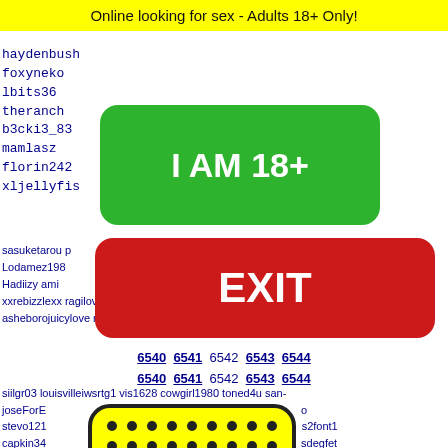Online looking for sex - Adults 18+ Only!
haydenbush
foxyneko
lbits36
theranch
b3cki3_83
mamlasz
florin242
xljellyfi
[Figure (other): Green button with white text: I AM 18+]
[Figure (other): Red button with white text: EXIT]
sasuketarou p aa urchins85 Lodamez198 kyetheairpup Hadiizy ami aaaaa xxrebizzlexx ragilove26 giuseppemetta hugo040684 asheborojuicylove nessiieamber angelchick19 Dem_N-O_Boyz
6540 6541 6542 6543 6544
6540 6541 6542 6543 6544
siilgr03 louisvilleiwsrtg1 vis1628 cowgirl1980 toned4u san-joseForE o stevo121 s2font1 capkin34 sdegfet heuslichs
[Figure (illustration): Yellow rounded rectangle with black dots grid and partial emoji face at bottom]